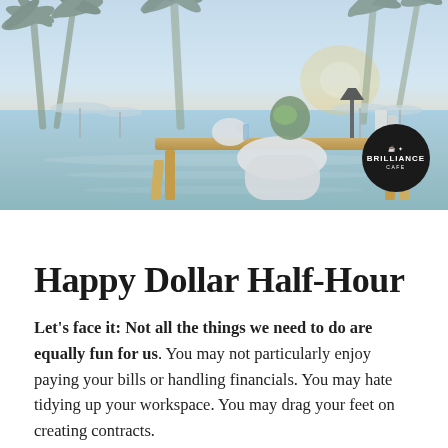[Figure (photo): Hero image of a tropical beach resort with palm trees, infinity pool, and a wooden desk with chair, piggy bank and decorative items in the foreground at sunset. A circular dark logo for Brilliance Cafe appears in the bottom right.]
Happy Dollar Half-Hour
Let's face it: Not all the things we need to do are equally fun for us. You may not particularly enjoy paying your bills or handling financials. You may hate tidying up your workspace. You may drag your feet on creating contracts.